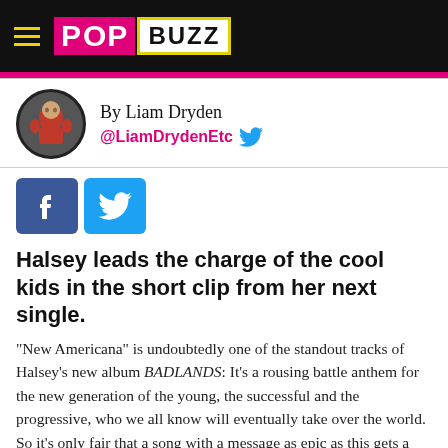POPBUZZ
By Liam Dryden
@LiamDrydenEtc
[Figure (logo): Facebook and Twitter social share buttons]
Halsey leads the charge of the cool kids in the short clip from her next single.
"New Americana" is undoubtedly one of the standout tracks of Halsey's new album BADLANDS: It's a rousing battle anthem for the new generation of the young, the successful and the progressive, who we all know will eventually take over the world. So it's only fair that a song with a message as epic as this gets a video that reflects